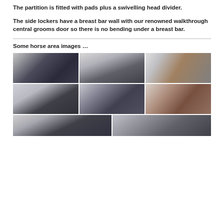The partition is fitted with pads plus a swivelling head divider.
The side lockers have a breast bar wall with our renowned walkthrough central grooms door so there is no bending under a breast bar.
Some horse area images …
[Figure (photo): Grid of horse trailer interior photos showing partitions, dividers, side lockers, grooms door and breast bar areas]
[Figure (photo): Partial bottom row of horse trailer interior photos]
[Figure (photo): Partial bottom row of horse trailer interior photos]